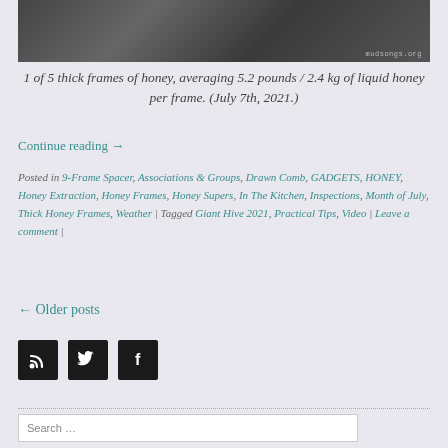[Figure (photo): Photo of honey frames/dark textured surface with mudsongs.org watermark]
1 of 5 thick frames of honey, averaging 5.2 pounds / 2.4 kg of liquid honey per frame. (July 7th, 2021.)
Continue reading →
Posted in 9-Frame Spacer, Associations & Groups, Drawn Comb, GADGETS, HONEY, Honey Extraction, Honey Frames, Honey Supers, In The Kitchen, Inspections, Month of July, Thick Honey Frames, Weather | Tagged Giant Hive 2021, Practical Tips, Video | Leave a comment |
← Older posts
[Figure (logo): RSS icon, Twitter bird icon, Facebook f icon — social media buttons]
Search …